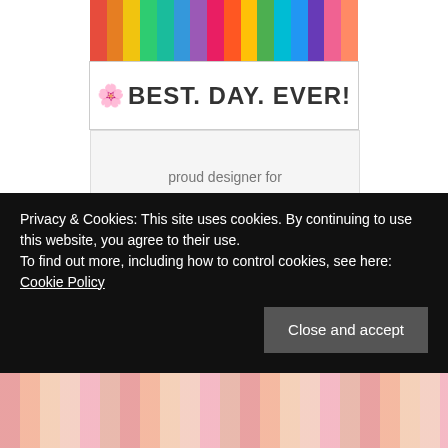[Figure (photo): Colorful fabric strips/threads rainbow image at top, with Best Day Ever logo below featuring leaf, flower icons and bold text]
proud designer for
[Figure (logo): Moda Fabrics + Supplies logo - black rectangle with white cursive 'moda' script and 'FABRICS + SUPPLIES' subtitle]
Privacy & Cookies: This site uses cookies. By continuing to use this website, you agree to their use.
To find out more, including how to control cookies, see here: Cookie Policy
Close and accept
[Figure (photo): Colorful fabric pattern at the bottom of the page]